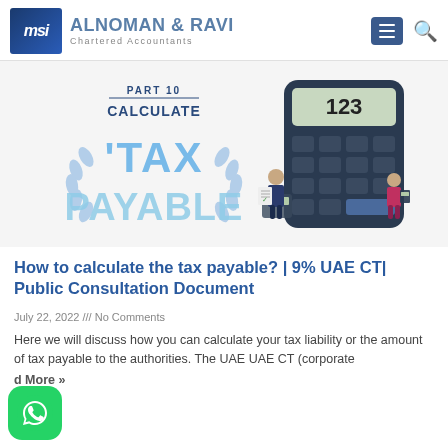[Figure (logo): MSI Alnoman & Ravi Chartered Accountants logo with navigation icons (menu and search)]
[Figure (illustration): Promotional illustration: PART 10 CALCULATE TAX PAYABLE banner with laurel wreath on left, and cartoon figures with a large calculator showing 123 on right]
How to calculate the tax payable? | 9% UAE CT| Public Consultation Document
July 22, 2022 /// No Comments
Here we will discuss how you can calculate your tax liability or the amount of tax payable to the authorities. The UAE UAE CT (corporate
Read More »